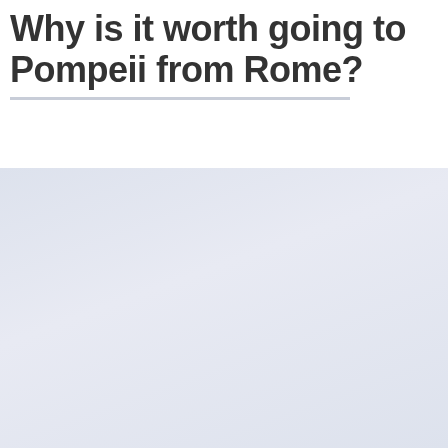Why is it worth going to Pompeii from Rome?
[Figure (other): Solid light blue-gray background panel filling the lower portion of the page]